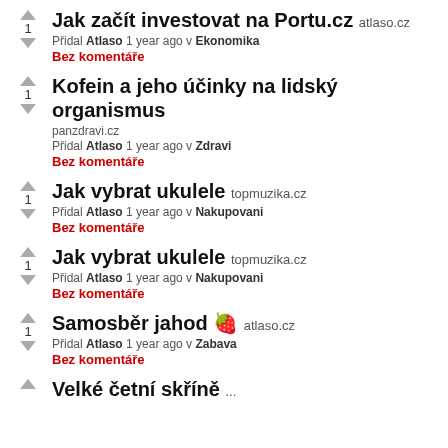Jak začít investovat na Portu.cz atlaso.cz
Přidal Atlaso 1 year ago v Ekonomika
Bez komentáře
Kofein a jeho účinky na lidský organismus
pazndravi.cz
Přidal Atlaso 1 year ago v Zdravi
Bez komentáře
Jak vybrat ukulele topmuzika.cz
Přidal Atlaso 1 year ago v Nakupovani
Bez komentáře
Jak vybrat ukulele topmuzika.cz
Přidal Atlaso 1 year ago v Nakupovani
Bez komentáře
Samosběr jahod 🍓 atlaso.cz
Přidal Atlaso 1 year ago v Zabava
Bez komentáře
Velké četní skříně ...